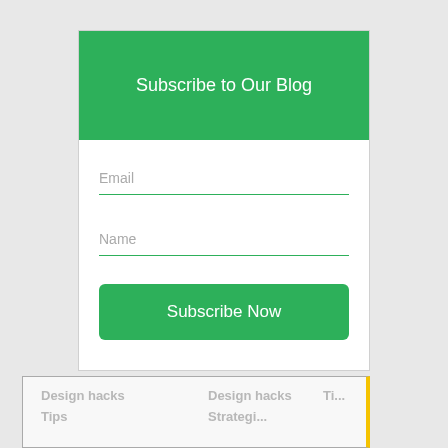Subscribe to Our Blog
Email
Name
Subscribe Now
Design hacks
Tips
Design hacks
Strategies
Tips